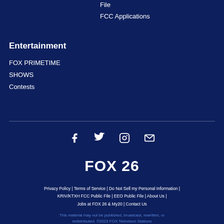File
FCC Applications
Entertainment
FOX PRIMETIME
SHOWS
Contests
[Figure (infographic): Social media icons: Facebook, Twitter, Instagram, Email]
[Figure (logo): FOX 26 logo in white text on dark blue background]
Privacy Policy | Terms of Service | Do Not Sell my Personal Information | KRIV/KTXH FCC Public File | EEO Public File | About Us | Jobs at FOX 26 & My20 | Contact Us
This material may not be published, broadcast, rewritten, or redistributed. ©2023 FOX Television Stations